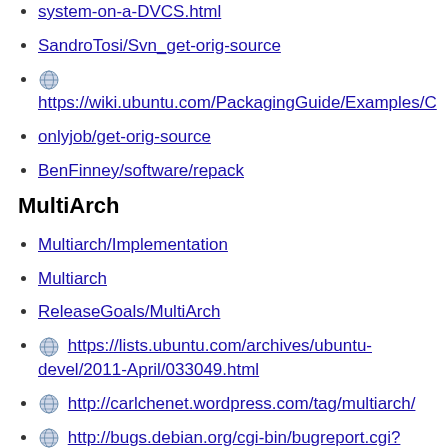system-on-a-DVCS.html
SandroTosi/Svn_get-orig-source
https://wiki.ubuntu.com/PackagingGuide/Examples/C
onlyjob/get-orig-source
BenFinney/software/repack
MultiArch
Multiarch/Implementation
Multiarch
ReleaseGoals/MultiArch
https://lists.ubuntu.com/archives/ubuntu-devel/2011-April/033049.html
http://carlchenet.wordpress.com/tag/multiarch/
http://bugs.debian.org/cgi-bin/bugreport.cgi?bug=538978